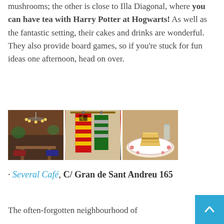mushrooms; the other is close to Illa Diagonal, where you can have tea with Harry Potter at Hogwarts! As well as the fantastic setting, their cakes and drinks are wonderful. They also provide board games, so if you're stuck for fun ideas one afternoon, head on over.
[Figure (photo): Three photos of a Harry Potter themed café: interior with chandelier and decorations, Hogwarts banners/flags in red and yellow stripes with a crest, and a slice of golden cake on a decorative plate.]
· Several Café, C/ Gran de Sant Andreu 165
The often-forgotten neighbourhood of